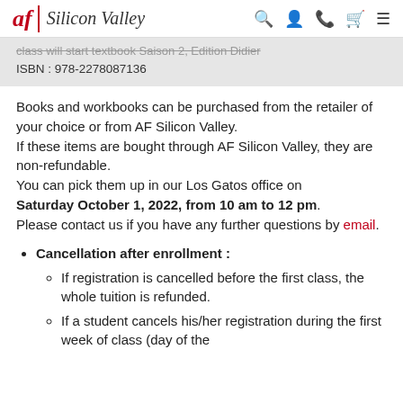af | Silicon Valley
class will start textbook Saison 2, Edition Didier
ISBN : 978-2278087136
Books and workbooks can be purchased from the retailer of your choice or from AF Silicon Valley. If these items are bought through AF Silicon Valley, they are non-refundable. You can pick them up in our Los Gatos office on Saturday October 1, 2022, from 10 am to 12 pm. Please contact us if you have any further questions by email.
Cancellation after enrollment :
If registration is cancelled before the first class, the whole tuition is refunded.
If a student cancels his/her registration during the first week of class (day of the